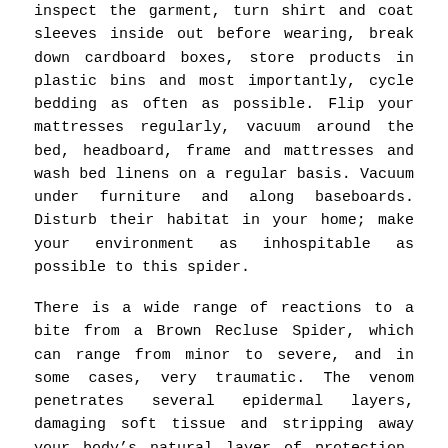inspect the garment, turn shirt and coat sleeves inside out before wearing, break down cardboard boxes, store products in plastic bins and most importantly, cycle bedding as often as possible. Flip your mattresses regularly, vacuum around the bed, headboard, frame and mattresses and wash bed linens on a regular basis. Vacuum under furniture and along baseboards. Disturb their habitat in your home; make your environment as inhospitable as possible to this spider.
There is a wide range of reactions to a bite from a Brown Recluse Spider, which can range from minor to severe, and in some cases, very traumatic. The venom penetrates several epidermal layers, damaging soft tissue and stripping away your body's natural layer of protection, leaving a person susceptible to virus and infection. As your body attempts to repair damage to the affected tissue, the residual effect of the toxin continually erodes any new skin growth. The toxic reaction is called necrosis, which in some cases can last several months to a year. Venom can potentially spread to